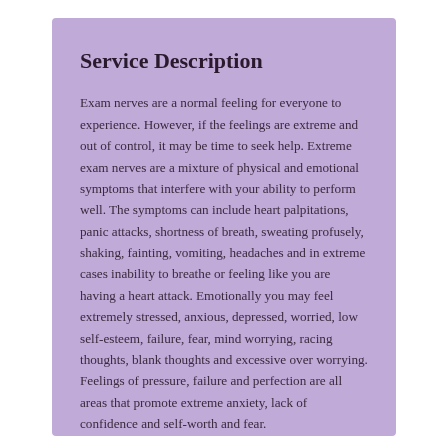Service Description
Exam nerves are a normal feeling for everyone to experience. However, if the feelings are extreme and out of control, it may be time to seek help. Extreme exam nerves are a mixture of physical and emotional symptoms that interfere with your ability to perform well. The symptoms can include heart palpitations, panic attacks, shortness of breath, sweating profusely, shaking, fainting, vomiting, headaches and in extreme cases inability to breathe or feeling like you are having a heart attack. Emotionally you may feel extremely stressed, anxious, depressed, worried, low self-esteem, failure, fear, mind worrying, racing thoughts, blank thoughts and excessive over worrying. Feelings of pressure, failure and perfection are all areas that promote extreme anxiety, lack of confidence and self-worth and fear.